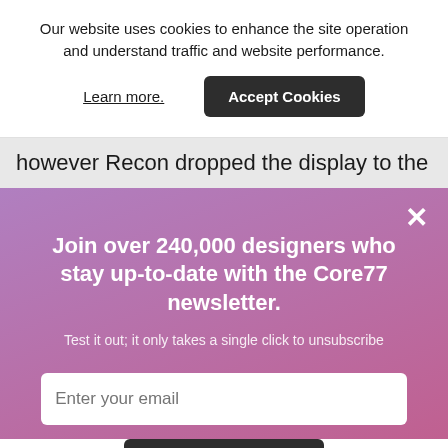Our website uses cookies to enhance the site operation and understand traffic and website performance.
Learn more.
Accept Cookies
however Recon dropped the display to the
×
Join over 240,000 designers who stay up-to-date with the Core77 newsletter.
Test it out; it only takes a single click to unsubscribe
Enter your email
Subscribe